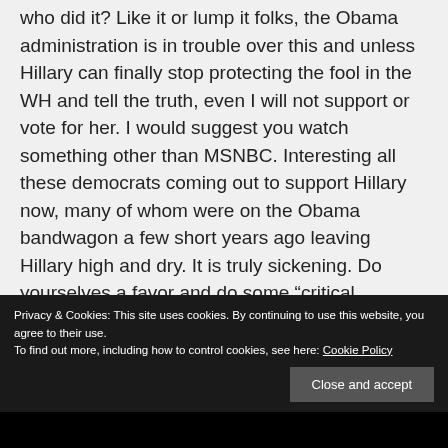who did it? Like it or lump it folks, the Obama administration is in trouble over this and unless Hillary can finally stop protecting the fool in the WH and tell the truth, even I will not support or vote for her. I would suggest you watch something other than MSNBC. Interesting all these democrats coming out to support Hillary now, many of whom were on the Obama bandwagon a few short years ago leaving Hillary high and dry. It is truly sickening. Do yourselves a favor and do some “critical
Privacy & Cookies: This site uses cookies. By continuing to use this website, you agree to their use. To find out more, including how to control cookies, see here: Cookie Policy
Close and accept